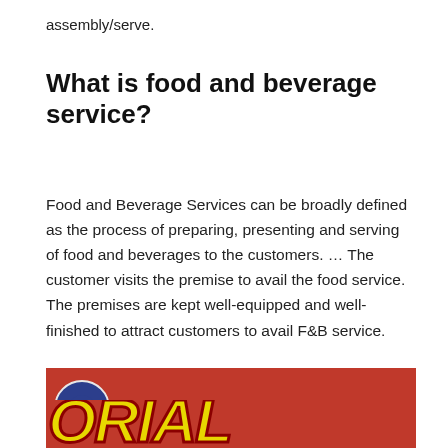assembly/serve.
What is food and beverage service?
Food and Beverage Services can be broadly defined as the process of preparing, presenting and serving of food and beverages to the customers. … The customer visits the premise to avail the food service. The premises are kept well-equipped and well-finished to attract customers to avail F&B service.
[Figure (screenshot): Video thumbnail for 'Russian Food Beverage Service - ...' from Hospitality School channel, showing bold yellow stylized text on a red background resembling a tutorial thumbnail.]